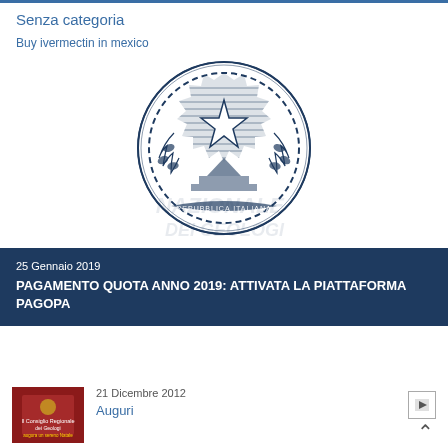Senza categoria
Buy ivermectin in mexico
[Figure (logo): Emblem of the Italian Republic (Stemma della Repubblica Italiana) — a white star on cogwheel flanked by olive and oak branches, with banner reading 'REPUBBLICA ITALIANA', overlaid with watermark text 'NAZIONALE DEI GEOLOGI']
25 Gennaio 2019
PAGAMENTO QUOTA ANNO 2019: ATTIVATA LA PIATTAFORMA PAGOPA
21 Dicembre 2012
Auguri